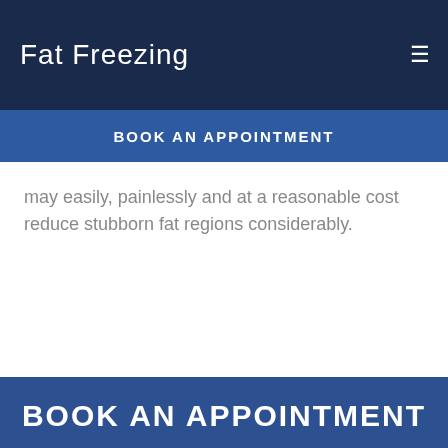Fat Freezing
BOOK AN APPOINTMENT
may easily, painlessly and at a reasonable cost reduce stubborn fat regions considerably.
BOOK AN APPOINTMENT
If you would like to schedule an appointment or a free consultation, please leave your info and we will contact you as soon as possible.